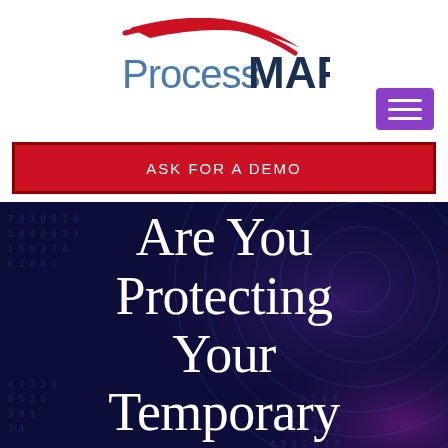[Figure (logo): ProcessMAP logo with red swoosh arc above the text. 'Process' in steel blue regular weight, 'MAP' in dark navy bold weight.]
[Figure (other): Purple hamburger menu button with three white horizontal lines]
ASK FOR A DEMO
Are You Protecting Your Temporary